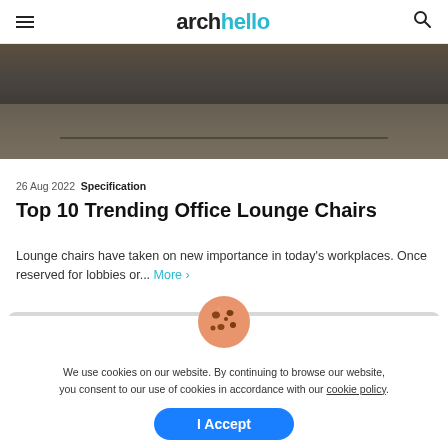archello
[Figure (photo): Interior photo showing a floor with dark tiles and a carpet/rug in a hallway or office lounge area, with furniture partially visible]
26 Aug 2022 Specification
Top 10 Trending Office Lounge Chairs
Lounge chairs have taken on new importance in today’s workplaces. Once reserved for lobbies or... More ›
[Figure (illustration): Cookie emoji icon (cookie with chocolate chips)]
We use cookies on our website. By continuing to browse our website, you consent to our use of cookies in accordance with our cookie policy.
I Accept